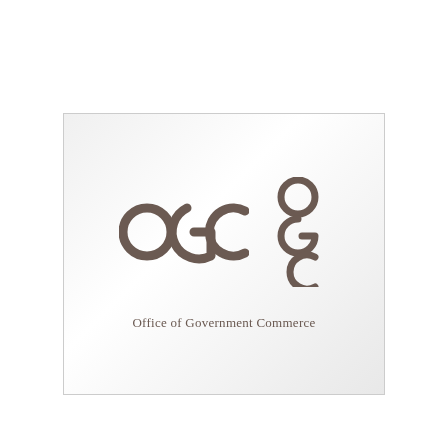[Figure (logo): OGC (Office of Government Commerce) logo. Left side shows the text 'OGC' in large brown rounded letterforms. Right side shows a vertically stacked symbol made of three circles arranged like the letters O, G, C. Below the logo is the text 'Office of Government Commerce' in grey serif font. The whole logo is on a light grey gradient card with a thin border.]